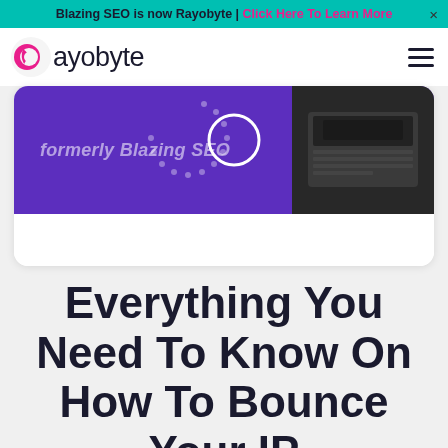Blazing SEO is now Rayobyte | Click Here To Learn More ×
[Figure (screenshot): Rayobyte website navigation header with logo (pink R icon and 'ayobyte' text) and hamburger menu icon]
[Figure (screenshot): Purple banner card with text 'formerly Blazing SEO', dotted arc decoration, white circle outline, and dark product/device image on right side]
Everything You Need To Know On How To Bounce Your IP